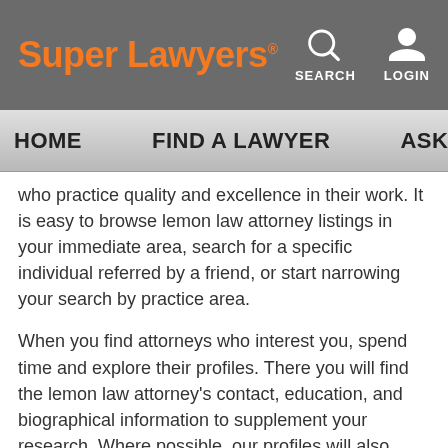Super Lawyers
SEARCH  LOGIN
HOME   FIND A LAWYER   ASK SUPER L
who practice quality and excellence in their work. It is easy to browse lemon law attorney listings in your immediate area, search for a specific individual referred by a friend, or start narrowing your search by practice area.
When you find attorneys who interest you, spend time and explore their profiles. There you will find the lemon law attorney's contact, education, and biographical information to supplement your research. Where possible, our profiles will also include links to the lemon law lawyer's personal biography, firm website, and other relevant information to consider.
Are you ready to take action? The contact form on an